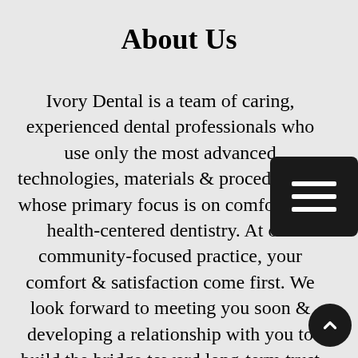About Us
Ivory Dental is a team of caring, experienced dental professionals who use only the most advanced technologies, materials & procedures & whose primary focus is on comfortable, health-centered dentistry. At our community-focused practice, your comfort & satisfaction come first. We look forward to meeting you soon & developing a relationship with you to build the bridge toward long-term trust &